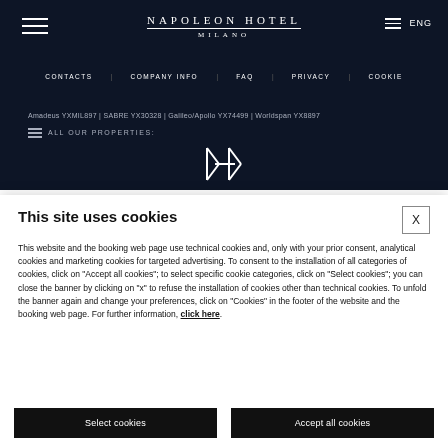NAPOLEON HOTEL MILANO
CONTACTS | COMPANY INFO | FAQ | PRIVACY | COOKIE
Amadeus YXMIL897 | SABRE YX30328 | Galileo/Apollo YX74499 | Worldspan YX8897
ALL OUR PROPERTIES:
This site uses cookies
This website and the booking web page use technical cookies and, only with your prior consent, analytical cookies and marketing cookies for targeted advertising. To consent to the installation of all categories of cookies, click on "Accept all cookies"; to select specific cookie categories, click on "Select cookies"; you can close the banner by clicking on "x" to refuse the installation of cookies other than technical cookies. To unfold the banner again and change your preferences, click on "Cookies" in the footer of the website and the booking web page. For further information, click here.
Select cookies
Accept all cookies